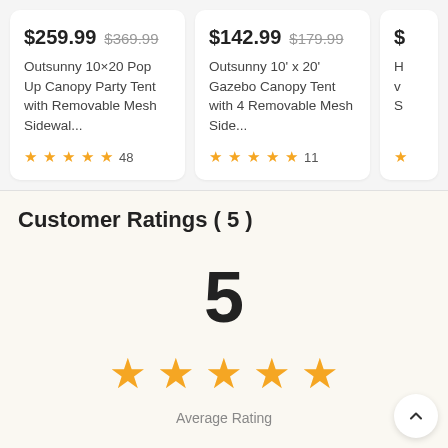$259.99  $369.99
Outsunny 10×20 Pop Up Canopy Party Tent with Removable Mesh Sidewal...
★★★★★ 48
$142.99  $179.99
Outsunny 10' x 20' Gazebo Canopy Tent with 4 Removable Mesh Side...
★★★★½ 11
Customer Ratings ( 5 )
5
★★★★★
Average Rating